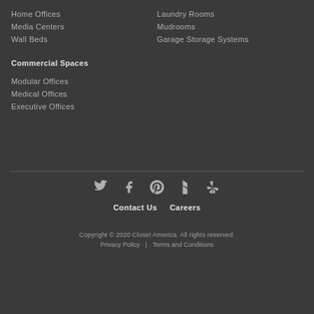Home Offices
Media Centers
Wall Beds
Laundry Rooms
Mudrooms
Garage Storage Systems
Commercial Spaces
Modular Offices
Medical Offices
Executive Offices
[Figure (other): Social media icons: Twitter, Facebook, Pinterest, Houzz, Yelp]
Contact Us   Careers
Copyright © 2020 Closet America. All rights reserved. Privacy Policy | Terms and Conditions